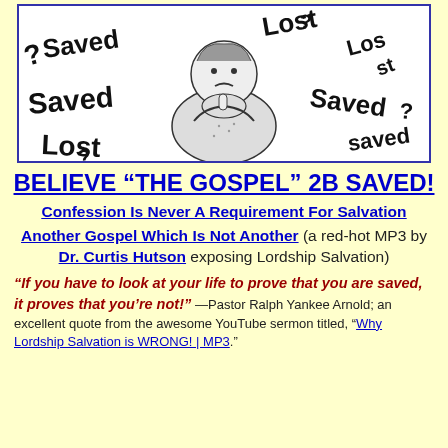[Figure (illustration): Black and white cartoon illustration of a confused person surrounded by the words Saved, Lost, and question marks in various angles and sizes]
BELIEVE “THE GOSPEL” 2B SAVED!
Confession Is Never A Requirement For Salvation
Another Gospel Which Is Not Another (a red-hot MP3 by Dr. Curtis Hutson exposing Lordship Salvation)
“If you have to look at your life to prove that you are saved, it proves that you’re not!” —Pastor Ralph Yankee Arnold; an excellent quote from the awesome YouTube sermon titled, “Why Lordship Salvation is WRONG! | MP3.”